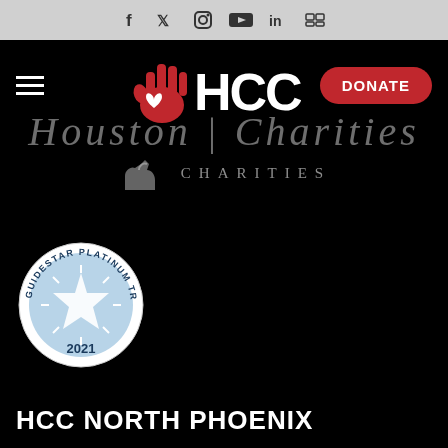Social media icons: f (Facebook), Twitter, Instagram, YouTube, LinkedIn, Flickr
[Figure (logo): HCC logo with red hand and heart icon next to bold white HCC text, and DONATE button on the right, hamburger menu on the left]
[Figure (logo): Houston Charities text in italic with decorative dog/cat silhouette, and CHARITIES in spaced caps below]
[Figure (logo): GuideStar Platinum Transparency 2021 seal badge]
HCC NORTH PHOENIX